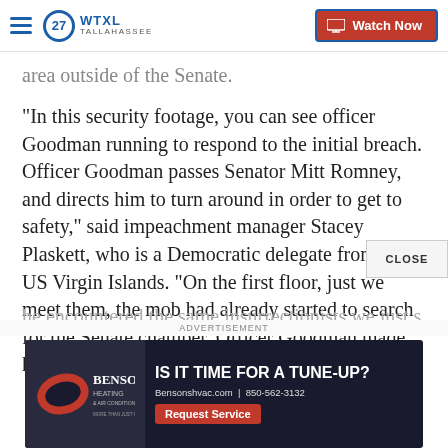WTXL TALLAHASSEE — Watch Now
area outside of the Senate.
"In this security footage, you can see officer Goodman running to respond to the initial breach. Officer Goodman passes Senator Mitt Romney, and directs him to turn around in order to get to safety," said impeachment manager Stacey Plaskett, who is a Democratic delegate from the US Virgin Islands. "On the first floor, just we meet them, the mob had already started to search for the Senate chamber. Officer Goodman made his way down to the first floor wh[en] he encountered the same insurrectionists we just s[aw] wall[ing]...
[Figure (screenshot): Benson's Heating & Air Conditioning advertisement banner: 'IS IT TIME FOR A TUNE-UP? Bensonshvac.com | 850-562-3132 Request Service']